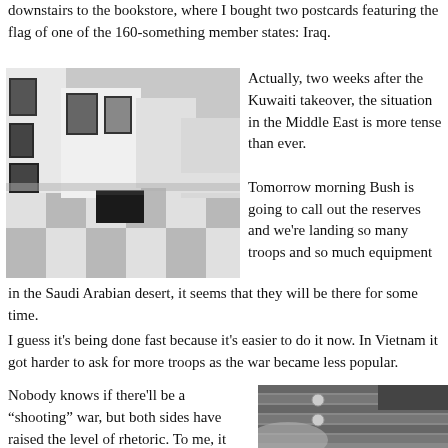downstairs to the bookstore, where I bought two postcards featuring the flag of one of the 160-something member states: Iraq.
[Figure (photo): Interior of a gallery or museum space with white walls displaying framed black and white photographs. Checkered floor in light gray and white tiles. Black cubic display pedestals.]
Actually, two weeks after the Kuwaiti takeover, the situation in the Middle East is more tense than ever.

Tomorrow morning Bush is going to call out the reserves and we're landing so many troops and so much equipment in the Saudi Arabian desert, it seems that they will be there for some time.
in the Saudi Arabian desert, it seems that they will be there for some time.
I guess it's being done fast because it's easier to do it now. In Vietnam it got harder to ask for more troops as the war became less popular.
Nobody knows if there'll be a “shooting” war, but both sides have raised the level of rhetoric. To me, it seems more like
[Figure (photo): Close-up photo of mechanical or architectural detail, showing metallic slats or blinds with spherical bolts or fasteners visible.]